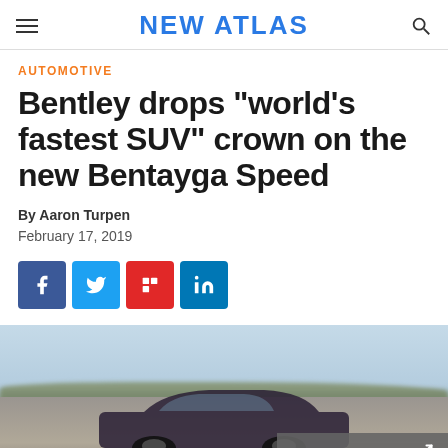NEW ATLAS
AUTOMOTIVE
Bentley drops "world's fastest SUV" crown on the new Bentayga Speed
By Aaron Turpen
February 17, 2019
[Figure (other): Social sharing buttons: Facebook, Twitter, Flipboard, LinkedIn]
[Figure (photo): Photo of a Bentley Bentayga Speed SUV driving on a road with blurred background landscape. A grey button in the lower right reads 'VIEW 11 IMAGES' with an expand icon.]